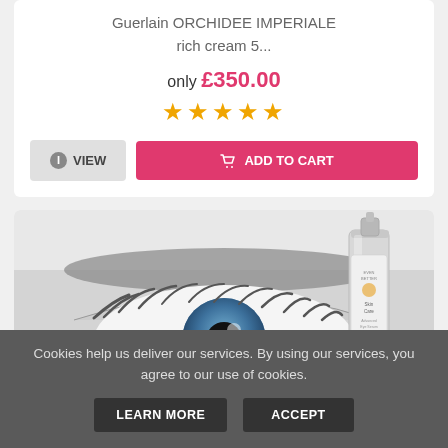Guerlain ORCHIDEE IMPERIALE rich cream 5...
only £350.00
[Figure (illustration): Five gold star rating icons]
VIEW
ADD TO CART
[Figure (photo): Close-up of a blue eye with eyelashes, black and white photo; alongside a silver skincare serum bottle with logo and label]
Cookies help us deliver our services. By using our services, you agree to our use of cookies.
LEARN MORE
ACCEPT